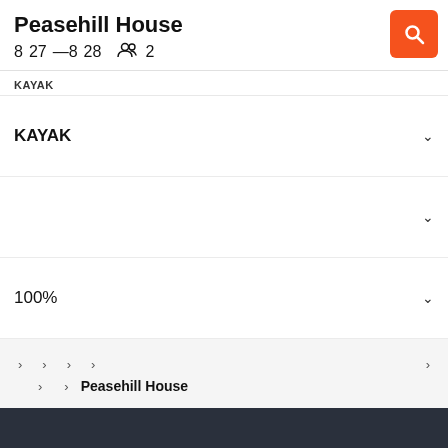Peasehill House
8  27  —8  28  👥 2
KAYAK
KAYAK
100%
› › › › ›
› › Peasehill House